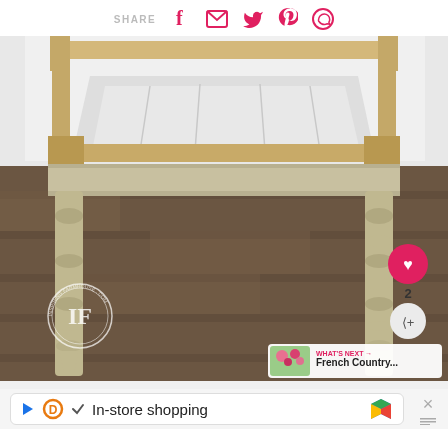SHARE [Facebook] [Email] [Twitter] [Pinterest] [WhatsApp]
[Figure (photo): A wooden table frame (without a top) with turned legs sitting on a dark wood floor. The frame is disassembled or in process of being repaired/refinished, painted in a weathered cream/grey color. White fabric/plastic is visible through the top of the frame. An IF (Inspiring Farmhouse) watermark circle is visible in the bottom-left of the photo. A heart/like button and share button appear on the right side. A 'What's Next' thumbnail showing French Country content appears in the bottom-right corner.]
[Figure (screenshot): Advertisement bar at the bottom showing 'In-store shopping' text with Google Maps icon and a close button]